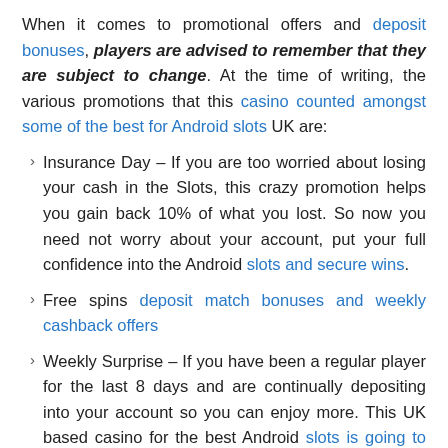When it comes to promotional offers and deposit bonuses, players are advised to remember that they are subject to change. At the time of writing, the various promotions that this casino counted amongst some of the best for Android slots UK are:
Insurance Day – If you are too worried about losing your cash in the Slots, this crazy promotion helps you gain back 10% of what you lost. So now you need not worry about your account, put your full confidence into the Android slots and secure wins.
Free spins deposit match bonuses and weekly cashback offers
Weekly Surprise – If you have been a regular player for the last 8 days and are continually depositing into your account so you can enjoy more. This UK based casino for the best Android slots is going to reward you with a surprise deposit into your account.
Certain offers last for a limited period of time when they